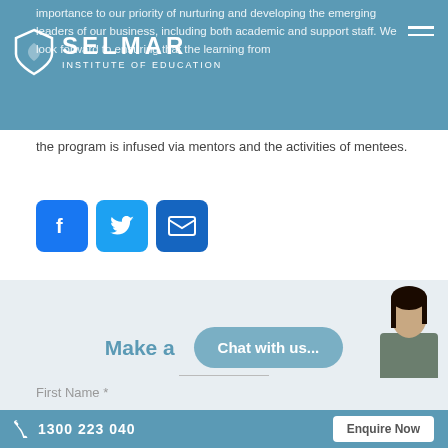importance to our priority of nurturing and developing the emerging leaders of our business, including both academic and support staff. We look forward to ensuring that the learning from the program is infused via mentors and the activities of mentees.
[Figure (logo): Selmar Institute of Education logo with shield icon and text SELMAR INSTITUTE OF EDUCATION on blue header background]
the program is infused via mentors and the activities of mentees.
[Figure (infographic): Social sharing buttons: Facebook (blue F icon), Twitter (blue bird icon), Email (blue envelope icon)]
Related posts
Make a
[Figure (other): Chat with us button (rounded rectangle, steel blue) and avatar photo of a woman with dark hair]
First Name *
1300 223 040    Enquire Now